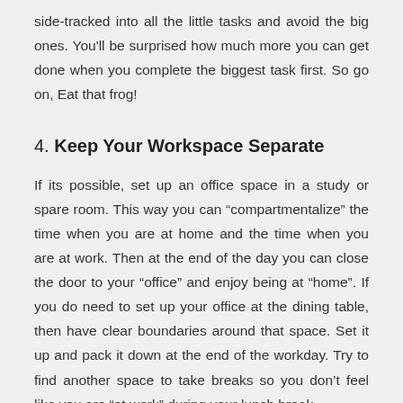side-tracked into all the little tasks and avoid the big ones. You'll be surprised how much more you can get done when you complete the biggest task first. So go on, Eat that frog!
4. Keep Your Workspace Separate
If its possible, set up an office space in a study or spare room. This way you can “compartmentalize” the time when you are at home and the time when you are at work. Then at the end of the day you can close the door to your “office” and enjoy being at “home”. If you do need to set up your office at the dining table, then have clear boundaries around that space. Set it up and pack it down at the end of the workday. Try to find another space to take breaks so you don’t feel like you are “at work” during your lunch break.